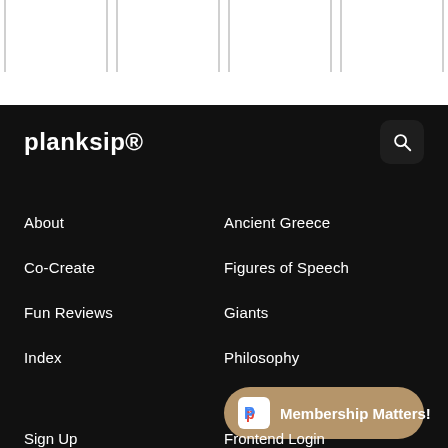[Figure (illustration): Three arch shapes outlined in light gray on white background, arranged in a row at the top of the page]
planksip®
About
Ancient Greece
Co-Create
Figures of Speech
Fun Reviews
Giants
Index
Philosophy
Membership Matters!
Sign Up
Frontend Login